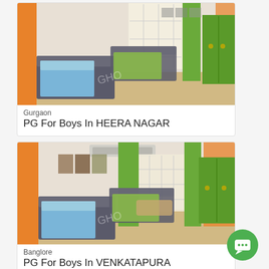[Figure (photo): Interior photo of a PG room showing two single beds with blue and green sheets, orange and green curtains, and a green wardrobe]
Gurgaon
PG For Boys In HEERA NAGAR
[Figure (photo): Interior photo of a PG room showing two single beds with blue and green sheets, orange and green curtains, posters on wall, AC unit, and a green wardrobe]
Banglore
PG For Boys In VENKATAPURA